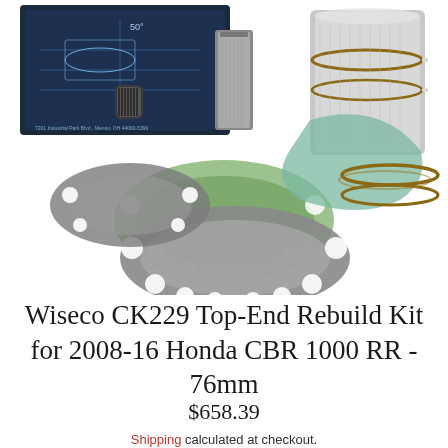[Figure (photo): Product photo of Wiseco CK229 Top-End Rebuild Kit showing pistons, rings, gaskets, wrist pin, and a Wiseco blueprint box on a white background]
Wiseco CK229 Top-End Rebuild Kit for 2008-16 Honda CBR 1000 RR - 76mm
$658.39
Shipping calculated at checkout.